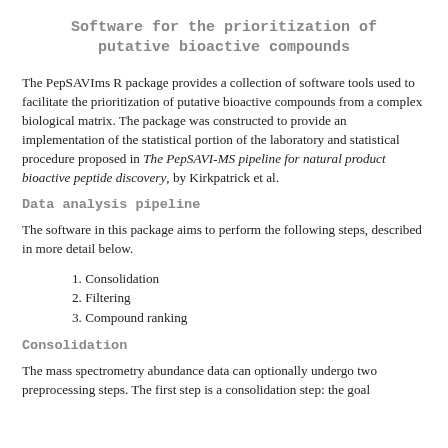Software for the prioritization of putative bioactive compounds
The PepSAVIms R package provides a collection of software tools used to facilitate the prioritization of putative bioactive compounds from a complex biological matrix. The package was constructed to provide an implementation of the statistical portion of the laboratory and statistical procedure proposed in The PepSAVI-MS pipeline for natural product bioactive peptide discovery, by Kirkpatrick et al.
Data analysis pipeline
The software in this package aims to perform the following steps, described in more detail below.
1. Consolidation
2. Filtering
3. Compound ranking
Consolidation
The mass spectrometry abundance data can optionally undergo two preprocessing steps. The first step is a consolidation step: the goal